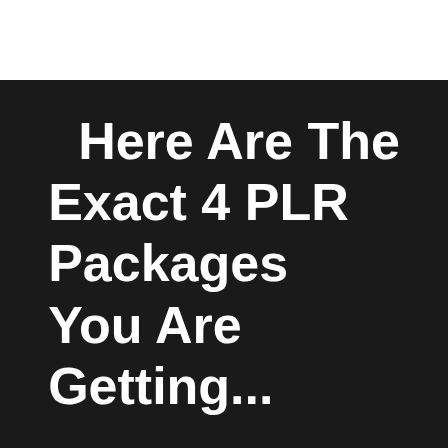Here Are The Exact 4 PLR Packages You Are Getting...